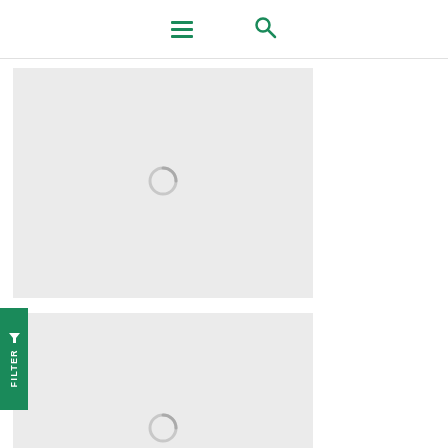Navigation header with hamburger menu and search icon
[Figure (screenshot): Loading placeholder card (top) with a spinner icon on a light gray background]
[Figure (screenshot): Loading placeholder card (bottom) with a spinner icon on a light gray background]
FILTER